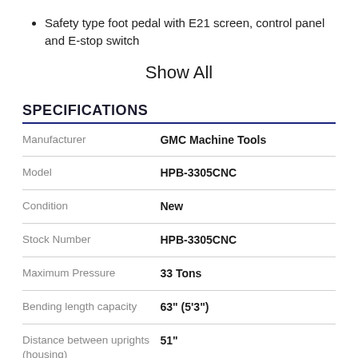Safety type foot pedal with E21 screen, control panel and E-stop switch
Show All
SPECIFICATIONS
| Specification | Value |
| --- | --- |
| Manufacturer | GMC Machine Tools |
| Model | HPB-3305CNC |
| Condition | New |
| Stock Number | HPB-3305CNC |
| Maximum Pressure | 33 Tons |
| Bending length capacity | 63" (5'3") |
| Distance between uprights (housing) | 51" |